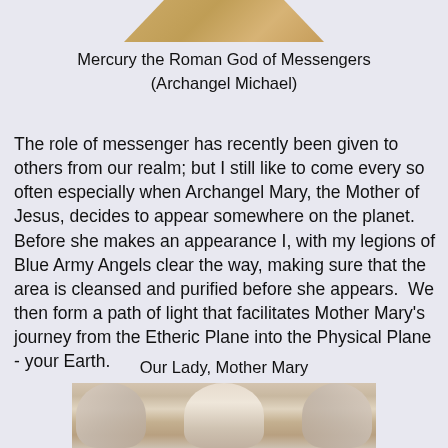[Figure (photo): Partial image of Mercury/Archangel Michael statue or figurine, golden color, cropped at top]
Mercury the Roman God of Messengers
(Archangel Michael)
The role of messenger has recently been given to others from our realm; but I still like to come every so often especially when Archangel Mary, the Mother of Jesus, decides to appear somewhere on the planet. Before she makes an appearance I, with my legions of Blue Army Angels clear the way, making sure that the area is cleansed and purified before she appears. We then form a path of light that facilitates Mother Mary's journey from the Etheric Plane into the Physical Plane - your Earth.
Our Lady, Mother Mary
[Figure (photo): Image of Our Lady Mother Mary with angels surrounding her, soft ethereal lighting]